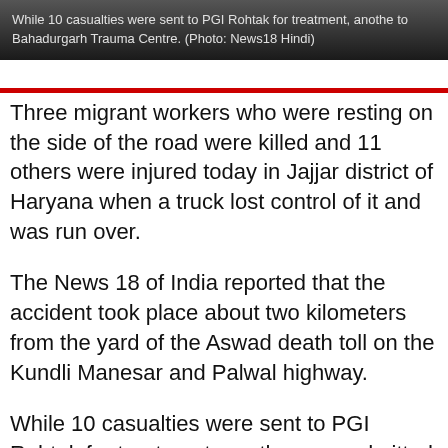While 10 casualties were sent to PGI Rohtak for treatment, another was admitted to Bahadurgarh Trauma Centre. (Photo: News18 Hindi)
Three migrant workers who were resting on the side of the road were killed and 11 others were injured today in Jajjar district of Haryana when a truck lost control of it and was run over.
The News 18 of India reported that the accident took place about two kilometers from the yard of the Aswad death toll on the Kundli Manesar and Palwal highway.
While 10 casualties were sent to PGI Rohtak for treatment, another was admitted to Bahadurgarh Trauma Centre. All the dead and wounded used to do repair work at the